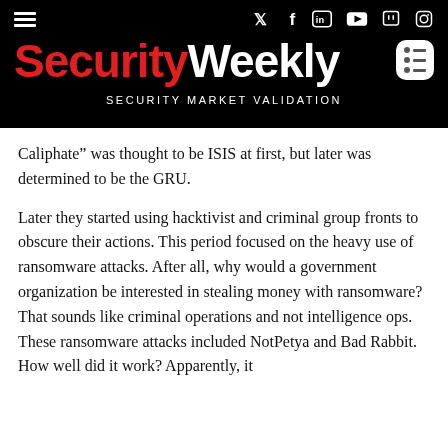Security Weekly — SECURITY MARKET VALIDATION
Caliphate” was thought to be ISIS at first, but later was determined to be the GRU.
Later they started using hacktivist and criminal group fronts to obscure their actions. This period focused on the heavy use of ransomware attacks. After all, why would a government organization be interested in stealing money with ransomware? That sounds like criminal operations and not intelligence ops. These ransomware attacks included NotPetya and Bad Rabbit. How well did it work? Apparently, it